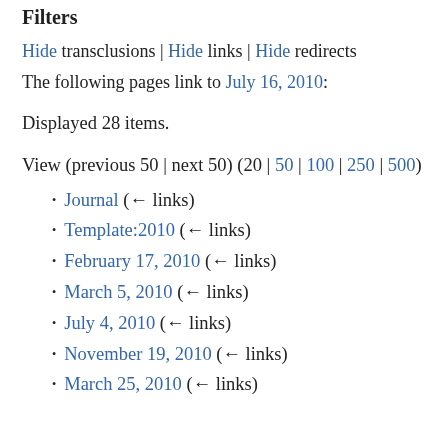Filters
Hide transclusions | Hide links | Hide redirects
The following pages link to July 16, 2010:
Displayed 28 items.
View (previous 50 | next 50) (20 | 50 | 100 | 250 | 500)
Journal  (← links)
Template:2010  (← links)
February 17, 2010  (← links)
March 5, 2010  (← links)
July 4, 2010  (← links)
November 19, 2010  (← links)
March 25, 2010  (← links)